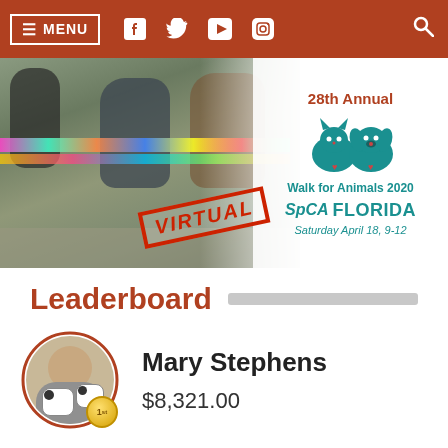≡ MENU
[Figure (photo): Hero banner showing dogs in colorful costumes with a VIRTUAL stamp overlay and the 28th Annual Walk for Animals 2020 SPCA Florida Saturday April 18, 9-12 logo on the right side]
Leaderboard
Mary Stephens
$8,321.00